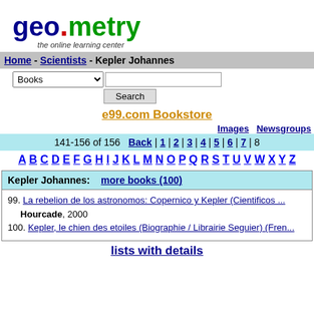[Figure (logo): geometry - the online learning center logo with dark blue 'geo', red dot, green 'metry' text]
Home - Scientists - Kepler Johannes
Books [dropdown] [search input] Search
e99.com Bookstore
Images Newsgroups
141-156 of 156  Back | 1 | 2 | 3 | 4 | 5 | 6 | 7 | 8
A B C D E F G H I J K L M N O P Q R S T U V W X Y Z
| Kepler Johannes: more books (100) |
| --- |
| 99. La rebelion de los astronomos: Copernico y Kepler (Cientificos ...
Hourcade, 2000 |
| 100. Kepler, le chien des etoiles (Biographie / Librairie Seguier) (Fren... |
lists with details